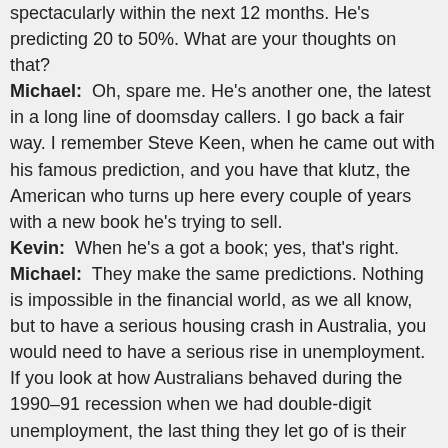spectacularly within the next 12 months. He's predicting 20 to 50%. What are your thoughts on that?
Michael: Oh, spare me. He's another one, the latest in a long line of doomsday callers. I go back a fair way. I remember Steve Keen, when he came out with his famous prediction, and you have that klutz, the American who turns up here every couple of years with a new book he's trying to sell.
Kevin: When he's a got a book; yes, that's right.
Michael: They make the same predictions. Nothing is impossible in the financial world, as we all know, but to have a serious housing crash in Australia, you would need to have a serious rise in unemployment. If you look at how Australians behaved during the 1990–91 recession when we had double-digit unemployment, the last thing they let go of is their real estate. We eat dog food before we sell the family home. So to get the sort of mass sales you would require to seriously crash prices, you'd have to paint me a scenario where we have a major rise in unemployment, and there is nothing on the horizon that you can say is likely to lead to that.